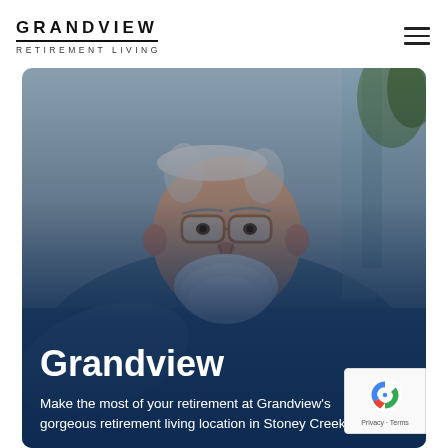GRANDVIEW
RETIREMENT LIVING
[Figure (photo): Smiling elderly man with white beard and glasses wearing a blue-grey sweater, photographed outdoors. Image has a dark blue gradient overlay at the bottom with text overlaid.]
Grandview
Make the most of your retirement at Grandview's gorgeous retirement living location in Stoney Creek.